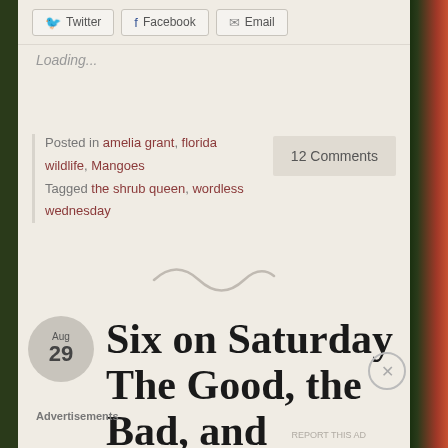Twitter | Facebook | Email
Loading...
Posted in amelia grant, florida wildlife, Mangoes
Tagged the shrub queen, wordless wednesday
12 Comments
[Figure (illustration): Decorative squiggle/tilde divider line]
Six on Saturday The Good, the Bad, and
Advertisements